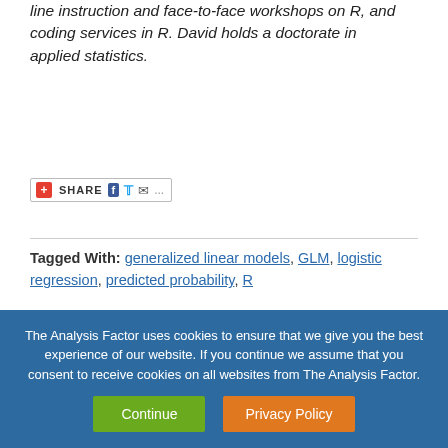line instruction and face-to-face workshops on R, and coding services in R. David holds a doctorate in applied statistics.
[Figure (other): Social share bar with +SHARE label, Facebook, Twitter, email icons]
Tagged With: generalized linear models, GLM, logistic regression, predicted probability, R
Related Posts
The Analysis Factor uses cookies to ensure that we give you the best experience of our website. If you continue we assume that you consent to receive cookies on all websites from The Analysis Factor.